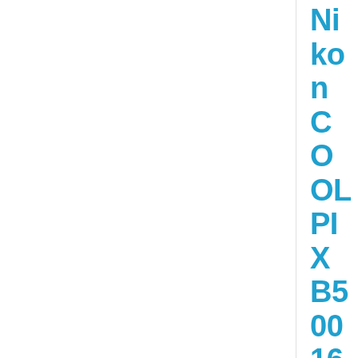Nikon COOLPIX B500 16MP 40x Optical Zoom Digital Camera w/Built-in Wi-Fi NFC & Bluetooth